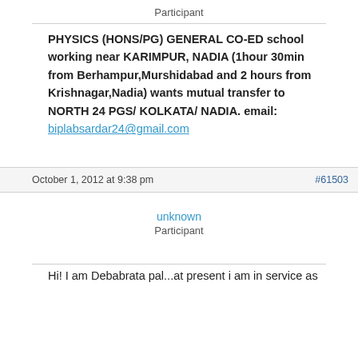Participant
PHYSICS (HONS/PG) GENERAL CO-ED school working near KARIMPUR, NADIA (1hour 30min from Berhampur,Murshidabad and 2 hours from Krishnagar,Nadia) wants mutual transfer to NORTH 24 PGS/ KOLKATA/ NADIA. email: biplabsardar24@gmail.com
October 1, 2012 at 9:38 pm
#61503
unknown
Participant
Hi! I am Debabrata pal...at present i am in service as